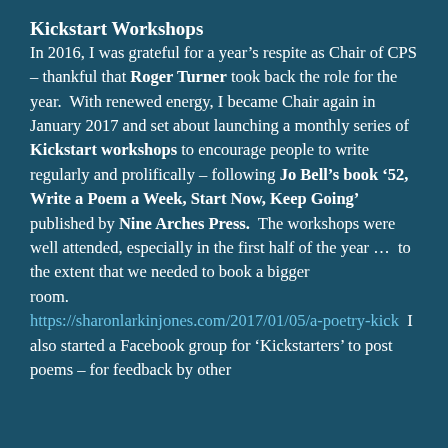Kickstart Workshops
In 2016, I was grateful for a year's respite as Chair of CPS – thankful that Roger Turner took back the role for the year.  With renewed energy, I became Chair again in January 2017 and set about launching a monthly series of Kickstart workshops to encourage people to write regularly and prolifically – following Jo Bell's book '52, Write a Poem a Week, Start Now, Keep Going' published by Nine Arches Press.  The workshops were well attended, especially in the first half of the year …  to the extent that we needed to book a bigger
room. https://sharonlarkinjones.com/2017/01/05/a-poetry-kick  I also started a Facebook group for 'Kickstarters' to post poems – for feedback by other